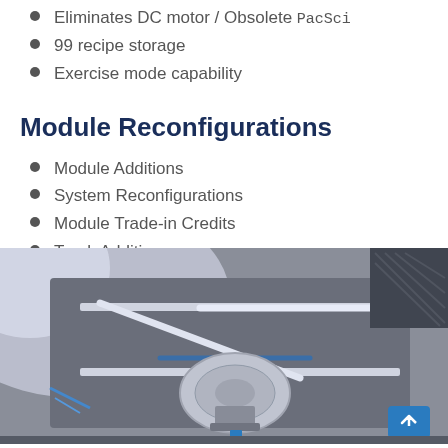Eliminates DC motor / Obsolete PacSci
99 recipe storage
Exercise mode capability
Module Reconfigurations
Module Additions
System Reconfigurations
Module Trade-in Credits
Track Additions
[Figure (photo): Interior view of a semiconductor or industrial module showing robotic track arms, a circular wafer/disk on a platform, mechanical rails, and electronic components inside an equipment enclosure.]